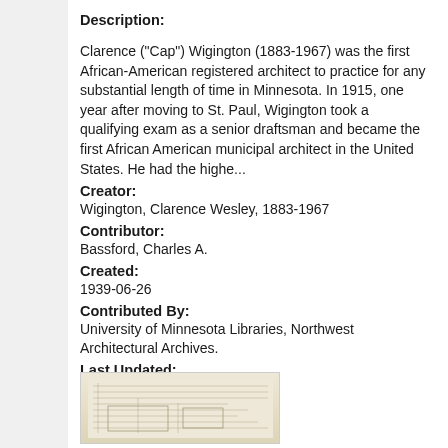Description:
Clarence ("Cap") Wigington (1883-1967) was the first African-American registered architect to practice for any substantial length of time in Minnesota. In 1915, one year after moving to St. Paul, Wigington took a qualifying exam as a senior draftsman and became the first African American municipal architect in the United States. He had the highe...
Creator:
Wigington, Clarence Wesley, 1883-1967
Contributor:
Bassford, Charles A.
Created:
1939-06-26
Contributed By:
University of Minnesota Libraries, Northwest Architectural Archives.
Last Updated:
2019-02-25
[Figure (photo): Architectural blueprint or drawing, appears to be a historical document with faint lines showing a building design]